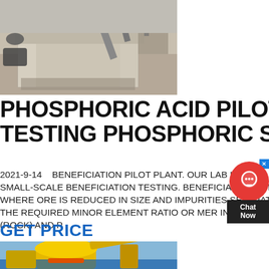[Figure (photo): Industrial construction or mining site with concrete structures, conveyor belts, and heavy equipment in an outdoor quarry setting]
PHOSPHORIC ACID PILOT PLANT TESTING PHOSPHORIC SULFUR
2021-9-14   BENEFICIATION PILOT PLANT. OUR LAB IS USED FOR FLEXIBLE SMALL-SCALE BENEFICIATION TESTING. BENEFICIATION IS THE PROCESS WHERE ORE IS REDUCED IN SIZE AND IMPURITIES SEPARATED TO ACHIEVED THE REQUIRED MINOR ELEMENT RATIO OR MER IN THE CONCENTRATE (ROCK) AND P
GET PRICE
[Figure (photo): Yellow and blue heavy industrial mining or crushing equipment (crusher/plant) against a blue sky background]